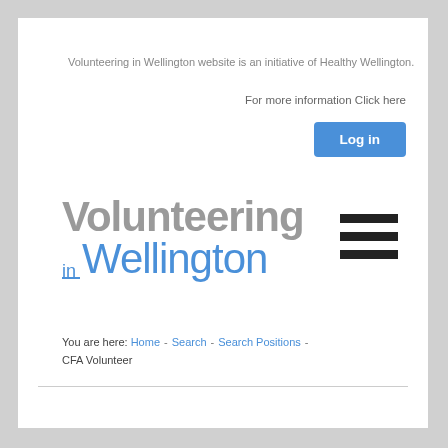Volunteering in Wellington website is an initiative of Healthy Wellington.
For more information Click here
[Figure (logo): Log in button - blue rounded rectangle with white bold text 'Log in']
[Figure (logo): Volunteering in Wellington logo - grey bold 'Volunteering' on top line, blue light 'Wellington' with small blue 'in' on second line]
[Figure (other): Hamburger menu icon - three thick horizontal black bars]
You are here: Home - Search - Search Positions - CFA Volunteer